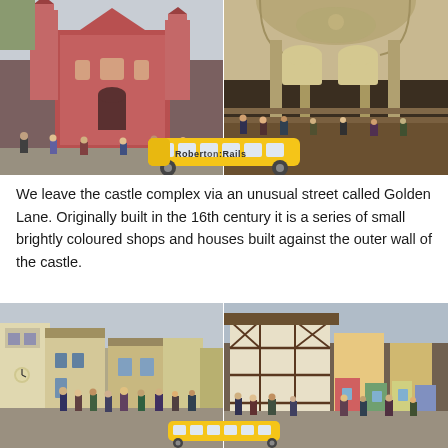[Figure (photo): Two side-by-side photos: left shows the facade of St. George's Basilica (a red Baroque church) at Prague Castle with tourists in front; right shows the interior of a Romanesque church with arched ceilings, columns, and visitors seated on steps. A yellow train logo with 'RobertonRails' watermark overlaid at center-bottom.]
We leave the castle complex via an unusual street called Golden Lane. Originally built in the 16th century it is a series of small brightly coloured shops and houses built against the outer wall of the castle.
[Figure (photo): Two side-by-side photos of Golden Lane: left shows a narrow cobblestone street lined with small colourful houses and crowds of tourists; right shows a half-timbered building with colourful small houses and more tourists. A yellow train logo watermark at bottom-center.]